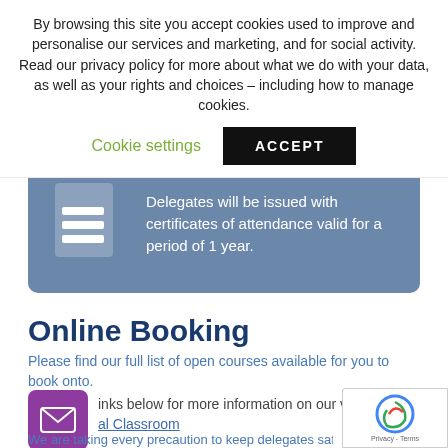By browsing this site you accept cookies used to improve and personalise our services and marketing, and for social activity. Read our privacy policy for more about what we do with your data, as well as your rights and choices – including how to manage cookies.
Cookie settings
ACCEPT
Delegates will be issued with certificates of attendance valid for a period of 1 year.
Online Booking
Please find our full list of open courses available for you to book onto.
links below for more information on our venue
al Classroom
We are taking every precaution to keep delegates safe during